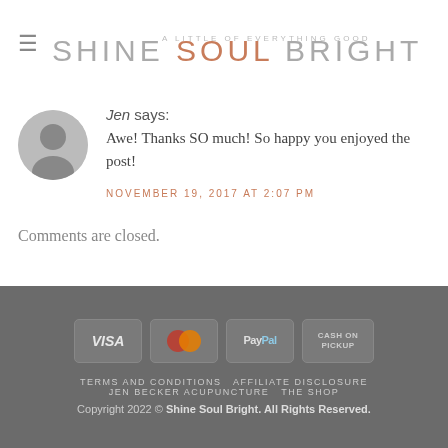SHINE SOUL BRIGHT
Jen says: Awe! Thanks SO much! So happy you enjoyed the post!
NOVEMBER 19, 2017 AT 2:07 PM
Comments are closed.
[Figure (logo): Payment icons: VISA, MasterCard, PayPal, Cash On Pickup]
TERMS AND CONDITIONS  AFFILIATE DISCLOSURE  JEN BECKER ACUPUNCTURE  THE SHOP  Copyright 2022 © Shine Soul Bright. All Rights Reserved.